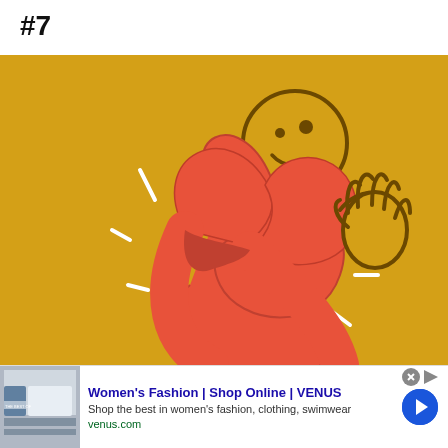#7
[Figure (illustration): Yellow background illustration of a cartoon stick figure with a round smiling head, waving hand, and a red awareness ribbon forming the body. White dash marks radiate from the figure suggesting movement or energy.]
Women's Fashion | Shop Online | VENUS
Shop the best in women's fashion, clothing, swimwear
venus.com